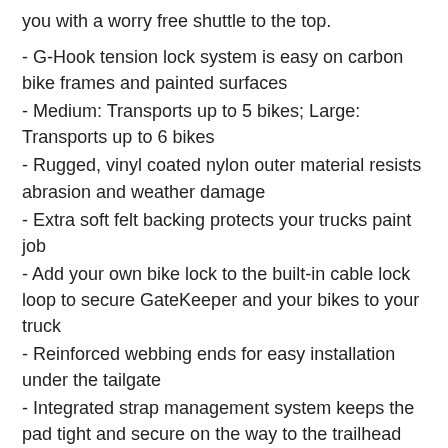you with a worry free shuttle to the top.
- G-Hook tension lock system is easy on carbon bike frames and painted surfaces
- Medium: Transports up to 5 bikes; Large: Transports up to 6 bikes
- Rugged, vinyl coated nylon outer material resists abrasion and weather damage
- Extra soft felt backing protects your trucks paint job
- Add your own bike lock to the built-in cable lock loop to secure GateKeeper and your bikes to your truck
- Reinforced webbing ends for easy installation under the tailgate
- Integrated strap management system keeps the pad tight and secure on the way to the trailhead
- HindSight tuck-away cover opens up the view for your back-up camera
- Medium: Fits mid-size and some older full-size trucks with tailgates from 53-61" wide; Large: Fits modern, full-size trucks with tailgates 62" or wider